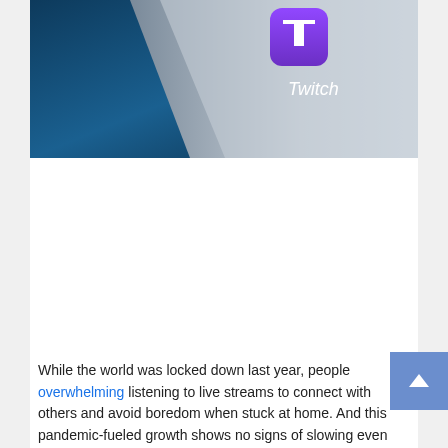[Figure (photo): Close-up photo of a smartphone showing the Twitch app icon. The screen shows a purple Twitch icon label and the word 'Twitch' in white text on a light gray background, with a dark blurred background.]
Photo: Martin Bureau (Getty Images)
While the world was locked down last year, people overwhelming listening to live streams to connect with others and avoid boredom when stuck at home. And this pandemic-fueled growth shows no signs of slowing even